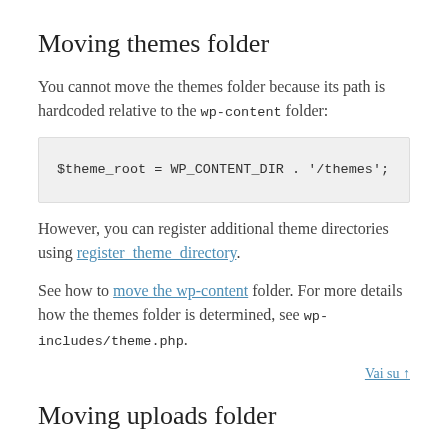Moving themes folder
You cannot move the themes folder because its path is hardcoded relative to the wp-content folder:
However, you can register additional theme directories using register_theme_directory.
See how to move the wp-content folder. For more details how the themes folder is determined, see wp-includes/theme.php.
Vai su ↑
Moving uploads folder